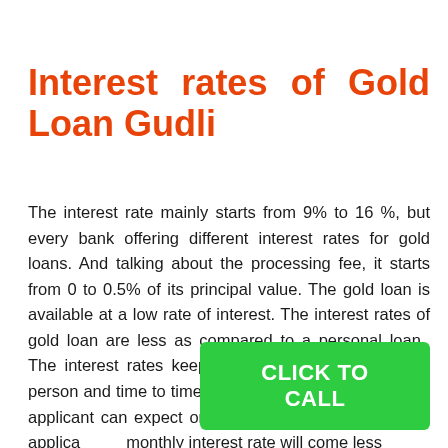Interest rates of Gold Loan Gudli
The interest rate mainly starts from 9% to 16 %, but every bank offering different interest rates for gold loans. And talking about the processing fee, it starts from 0 to 0.5% of its principal value. The gold loan is available at a low rate of interest. The interest rates of gold loan are less as compared to a personal loan.  The interest rates keep on changing from person to person and time to time. The minimum price of interest applicant can expect on gold loans is 10.70 %. If the applicant monthly interest rate will come less